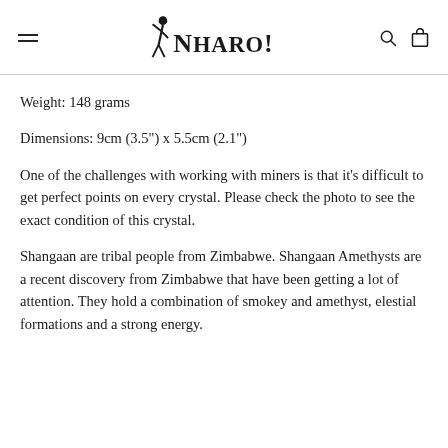NHARO! [logo with hamburger menu, search, and cart icons]
Weight: 148 grams
Dimensions: 9cm (3.5") x 5.5cm (2.1")
One of the challenges with working with miners is that it's difficult to get perfect points on every crystal. Please check the photo to see the exact condition of this crystal.
Shangaan are tribal people from Zimbabwe. Shangaan Amethysts are a recent discovery from Zimbabwe that have been getting a lot of attention. They hold a combination of smokey and amethyst, elestial formations and a strong energy.